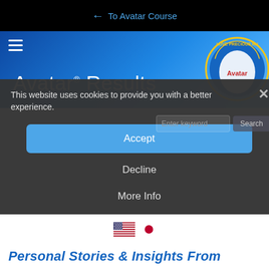← To Avatar Course
Avatar® Results
This website uses cookies to provide you with a better experience.
Accept
Decline
More Info
[Figure (illustration): US flag and Japanese flag circle icons]
Personal Stories & Insights From